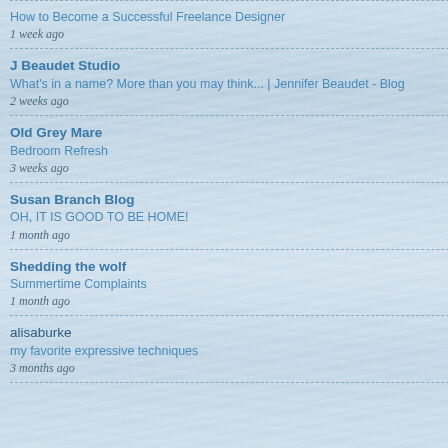How to Become a Successful Freelance Designer
1 week ago
J Beaudet Studio
What's in a name? More than you may think... | Jennifer Beaudet - Blog
2 weeks ago
Old Grey Mare
Bedroom Refresh
3 weeks ago
Susan Branch Blog
OH, IT IS GOOD TO BE HOME!
1 month ago
Shedding the wolf
Summertime Complaints
1 month ago
alisaburke
my favorite expressive techniques
3 months ago
Ms. Bake-it said...
So happy to hear soft French or Mia provolone cheese
Thank you for the
~ Tracy
May 7, 2010 at 11
Renée said...
Ah the beach...yo
May 7, 2010 at 2:5
SmilingSally said...
It may be lonely w
May 7, 2010 at 3:0